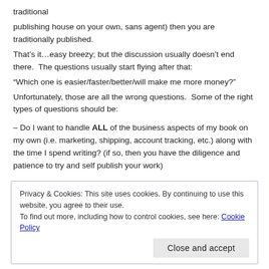traditional
publishing house on your own, sans agent) then you are traditionally published.
That’s it…easy breezy; but the discussion usually doesn’t end there.  The questions usually start flying after that:
“Which one is easier/faster/better/will make me more money?”
Unfortunately, those are all the wrong questions.  Some of the right types of questions should be:
– Do I want to handle ALL of the business aspects of my book on my own (i.e. marketing, shipping, account tracking, etc.) along with the time I spend writing? (if so, then you have the diligence and patience to try and self publish your work)
Privacy & Cookies: This site uses cookies. By continuing to use this website, you agree to their use.
To find out more, including how to control cookies, see here: Cookie Policy
Close and accept